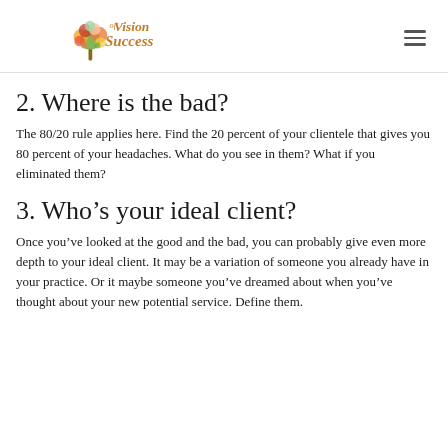Vision of Success [logo with hamburger menu]
2. Where is the bad?
The 80/20 rule applies here. Find the 20 percent of your clientele that gives you 80 percent of your headaches. What do you see in them? What if you eliminated them?
3. Who’s your ideal client?
Once you’ve looked at the good and the bad, you can probably give even more depth to your ideal client. It may be a variation of someone you already have in your practice. Or it maybe someone you’ve dreamed about when you’ve thought about your new potential service. Define them.